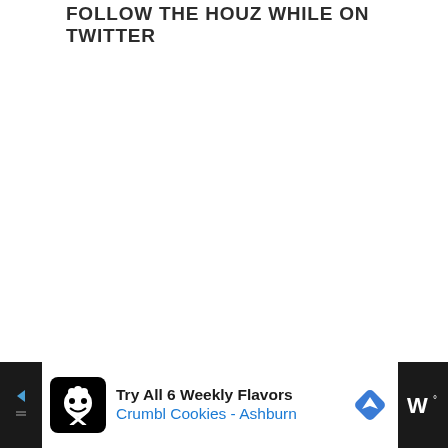FOLLOW THE HOUZ WHILE ON TWITTER
[Figure (other): Advertisement bar at the bottom: 'Try All 6 Weekly Flavors / Crumbl Cookies - Ashburn' with cookie logo icon and navigation arrow icon, on dark background.]